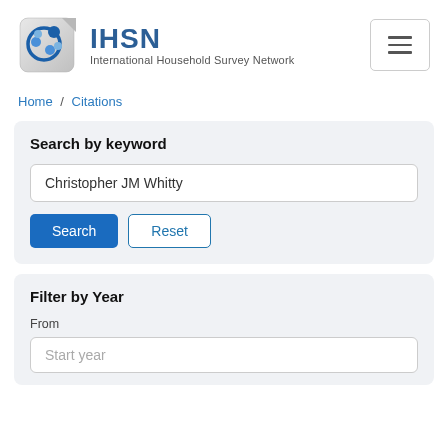[Figure (logo): IHSN logo with circular blue graphic icon and text 'IHSN International Household Survey Network']
Home / Citations
Search by keyword
Christopher JM Whitty
Search   Reset
Filter by Year
From
Start year